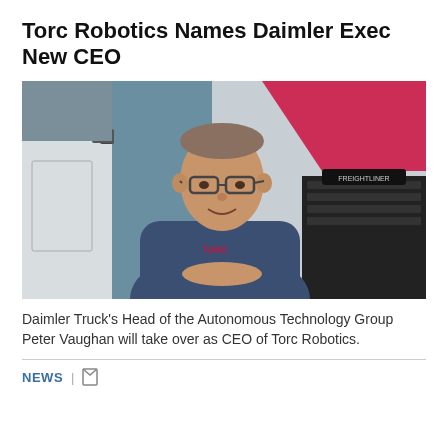Torc Robotics Names Daimler Exec New CEO
[Figure (photo): A man in a navy blue polo shirt with 'TORC' logo stands with arms crossed in front of a white Freightliner semi-truck. He is smiling and wearing glasses.]
Daimler Truck’s Head of the Autonomous Technology Group Peter Vaughan will take over as CEO of Torc Robotics.
NEWS | ▢